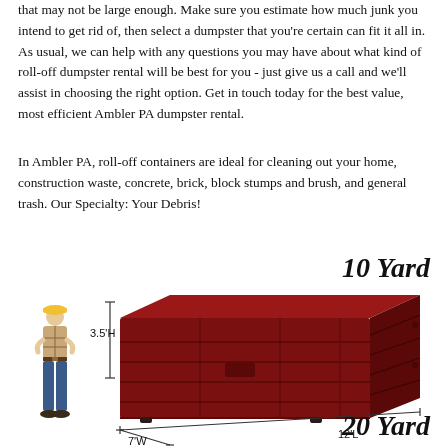that may not be large enough. Make sure you estimate how much junk you intend to get rid of, then select a dumpster that you're certain can fit it all in. As usual, we can help with any questions you may have about what kind of roll-off dumpster rental will be best for you - just give us a call and we'll assist in choosing the right option. Get in touch today for the best value, most efficient Ambler PA dumpster rental.
In Ambler PA, roll-off containers are ideal for cleaning out your home, construction waste, concrete, brick, block stumps and brush, and general trash. Our Specialty: Your Debris!
10 Yard
[Figure (illustration): A construction worker wearing a yellow hard hat and plaid shirt standing with arms crossed next to a 3D illustration of a dark red 10-yard roll-off dumpster container. Dimension annotations show 3.5'H height, 12'L length, and 7'W width.]
20 Yard